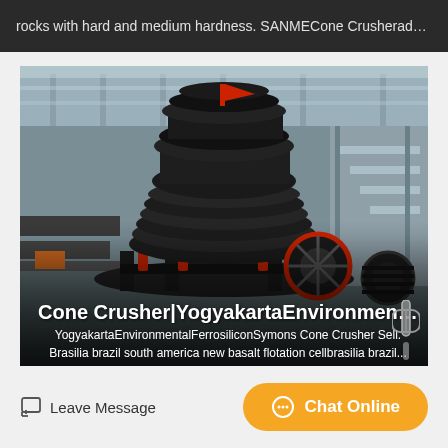rocks with hard and medium hardness. SANMECone Crusheradop…
[Figure (photo): Industrial cone crusher machine (large black heavy-duty equipment) inside a factory/warehouse setting with red accent parts and wheels. Text overlay shows product title and description.]
Cone Crusher|YogyakartaEnvironmentalF…
YogyakartaEnvironmentalFerrosiliconSymons Cone Crusher Sell. Brasilia brazil south america new basalt flotation cellbrasilia brazil…
Leave Message
Chat Online